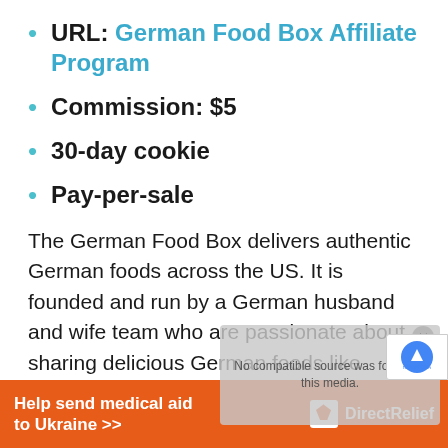URL: German Food Box Affiliate Program
Commission: $5
30-day cookie
Pay-per-sale
The German Food Box delivers authentic German foods across the US. It is founded and run by a German husband and wife team who are passionate about sharing delicious German foods like Bratwurst, Spaetzle and Stollen.
[Figure (screenshot): Video player overlay showing 'No compatible source was found for this media.' error message]
[Figure (logo): reCAPTCHA badge]
[Figure (infographic): Orange banner advertisement: 'Help send medical aid to Ukraine >>' with Direct Relief logo]